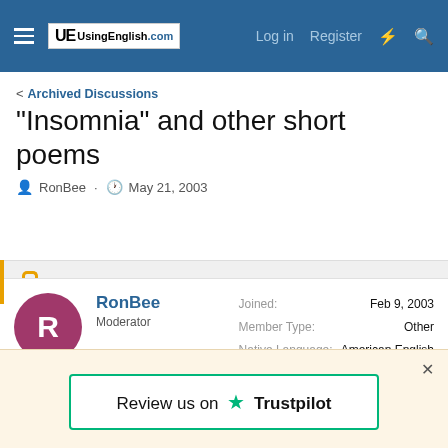UsingEnglish.com — Log in | Register
< Archived Discussions
"Insomnia" and other short poems
RonBee · May 21, 2003
Not open for further replies.
RonBee
Moderator
Joined: Feb 9, 2003
Member Type: Other
Native Language: American English
Home Country: United States
Review us on ★ Trustpilot